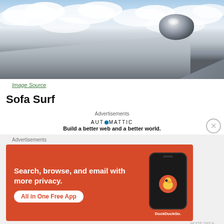[Figure (photo): Aerial view from airplane window showing the aircraft wing and engine against a sky with clouds below]
Image Source
Sofa Surf
Advertisements
AUTOMATTIC — Build a better web and a better world.
Advertisements
[Figure (screenshot): DuckDuckGo advertisement banner: Search, browse, and email with more privacy. All in One Free App. Shows DuckDuckGo logo on a phone on an orange/red background.]